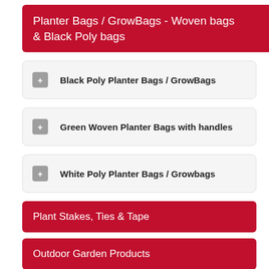Planter Bags / GrowBags - Woven bags & Black Poly bags
Black Poly Planter Bags / GrowBags
Green Woven Planter Bags with handles
White Poly Planter Bags / Growbags
Plant Stakes, Ties & Tape
Outdoor Garden Products
Safety Gear